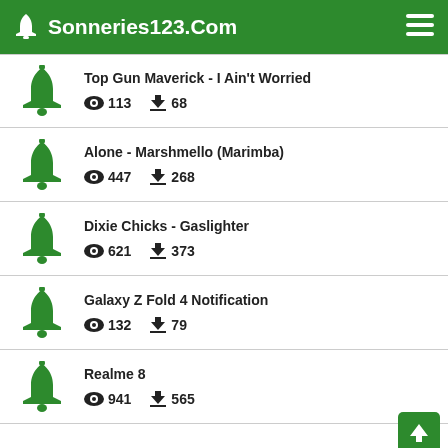Sonneries123.Com
Top Gun Maverick - I Ain't Worried | 113 views | 68 downloads
Alone - Marshmello (Marimba) | 447 views | 268 downloads
Dixie Chicks - Gaslighter | 621 views | 373 downloads
Galaxy Z Fold 4 Notification | 132 views | 79 downloads
Realme 8 | 941 views | 565 downloads